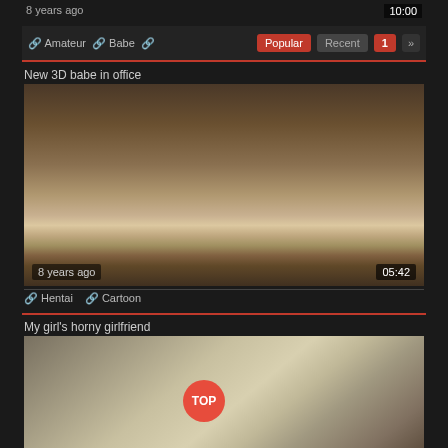8 years ago
10:00
Amateur   Babe
Popular   Recent   1   »
New 3D babe in office
[Figure (screenshot): 3D rendered animation thumbnail showing blonde character in office setting]
8 years ago
05:42
Hentai   Cartoon
My girl's horny girlfriend
[Figure (screenshot): Video thumbnail showing two women]
TOP